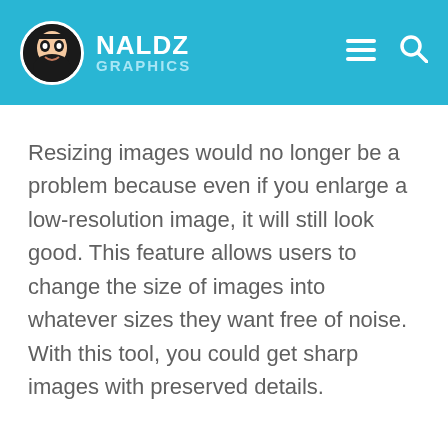NALDZ GRAPHICS
Resizing images would no longer be a problem because even if you enlarge a low-resolution image, it will still look good. This feature allows users to change the size of images into whatever sizes they want free of noise. With this tool, you could get sharp images with preserved details.